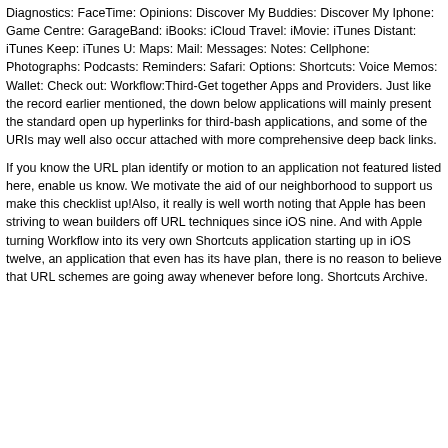Diagnostics: FaceTime: Opinions: Discover My Buddies: Discover My Iphone: Game Centre: GarageBand: iBooks: iCloud Travel: iMovie: iTunes Distant: iTunes Keep: iTunes U: Maps: Mail: Messages: Notes: Cellphone: Photographs: Podcasts: Reminders: Safari: Options: Shortcuts: Voice Memos: Wallet: Check out: Workflow:Third-Get together Apps and Providers. Just like the record earlier mentioned, the down below applications will mainly present the standard open up hyperlinks for third-bash applications, and some of the URIs may well also occur attached with more comprehensive deep back links.
If you know the URL plan identify or motion to an application not featured listed here, enable us know. We motivate the aid of our neighborhood to support us make this checklist up!Also, it really is well worth noting that Apple has been striving to wean builders off URL techniques since iOS nine. And with Apple turning Workflow into its very own Shortcuts application starting up in iOS twelve, an application that even has its have plan, there is no reason to believe that URL schemes are going away whenever before long. Shortcuts Archive.